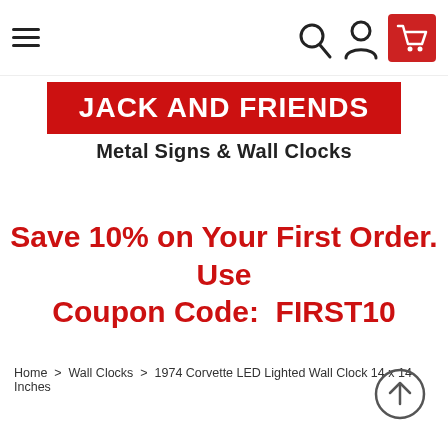[Figure (screenshot): Navigation bar with hamburger menu, search icon, user icon, and red shopping cart button]
[Figure (logo): Jack and Friends logo — red rectangle with white bold text 'JACK AND FRIENDS' and subtitle 'Metal Signs & Wall Clocks']
Save 10% on Your First Order. Use Coupon Code:  FIRST10
Home  >   Wall Clocks  >  1974 Corvette LED Lighted Wall Clock 14 x 14 Inches